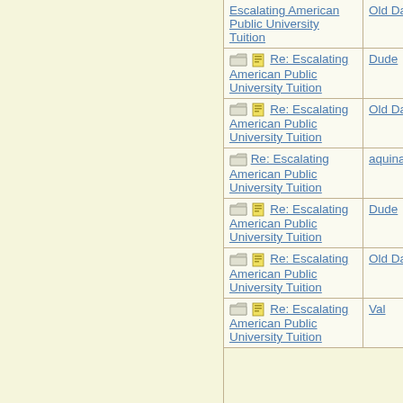| Topic | Author |
| --- | --- |
| Escalating American Public University Tuition | Old Dad |
| [icons] Re: Escalating American Public University Tuition | Dude |
| [icons] Re: Escalating American Public University Tuition | Old Dad |
| [folder] Re: Escalating American Public University Tuition | aquinas |
| [icons] Re: Escalating American Public University Tuition | Dude |
| [icons] Re: Escalating American Public University Tuition | Old Dad |
| [icons] Re: Escalating American Public University Tuition | Val |